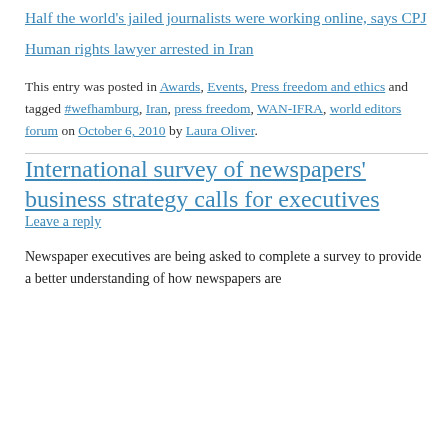Half the world’s jailed journalists were working online, says CPJ
Human rights lawyer arrested in Iran
This entry was posted in Awards, Events, Press freedom and ethics and tagged #wefhamburg, Iran, press freedom, WAN-IFRA, world editors forum on October 6, 2010 by Laura Oliver.
International survey of newspapers’ business strategy calls for executives
Leave a reply
Newspaper executives are being asked to complete a survey to provide a better understanding of how newspapers are